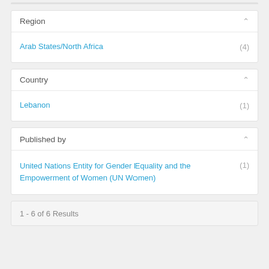Region
Arab States/North Africa (4)
Country
Lebanon (1)
Published by
United Nations Entity for Gender Equality and the Empowerment of Women (UN Women) (1)
1 - 6 of 6 Results